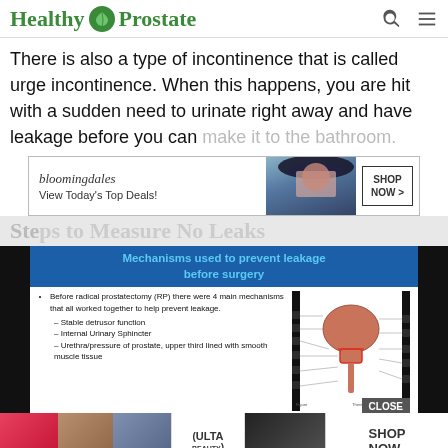Healthy Prostate
There is also a type of incontinence that is called urge incontinence. When this happens, you are hit with a sudden need to urinate right away and have leakage before you can make it to the bathroom.
[Figure (screenshot): Bloomingdale's advertisement banner: 'View Today's Top Deals!' with woman wearing hat and SHOP NOW button]
Steps to Measure No Leaks
[Figure (screenshot): Medical slide titled 'Mechanisms used to prevent leakage before surgery' with bullet points about radical prostatectomy mechanisms and anatomical diagram of prostate/urinary system]
[Figure (screenshot): Ulta Beauty advertisement banner with beauty product images and SHOP NOW button]